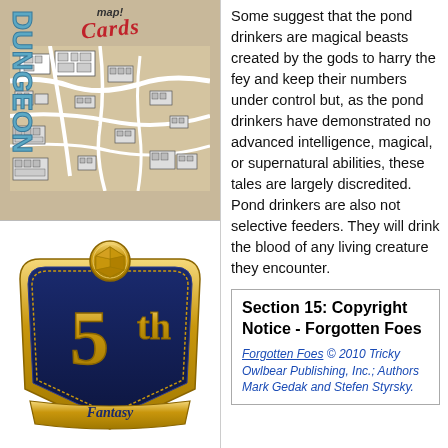[Figure (illustration): Dungeon Cards product image showing a map with 'Cards' in red italic script and 'map!' text at the top on a tan/parchment background with a black and white city map graphic]
[Figure (logo): 5th Fantasy logo badge — dark blue shield with gold ornamental border, gold 20-sided die at top, large stylized '5th' text in gold, and 'Fantasy' on a gold banner at the bottom]
Some suggest that the pond drinkers are magical beasts created by the gods to harry the fey and keep their numbers under control but, as the pond drinkers have demonstrated no advanced intelligence, magical, or supernatural abilities, these tales are largely discredited. Pond drinkers are also not selective feeders. They will drink the blood of any living creature they encounter.
Section 15: Copyright Notice - Forgotten Foes
Forgotten Foes © 2010 Tricky Owlbear Publishing, Inc.; Authors Mark Gedak and Stefen Styrsky.